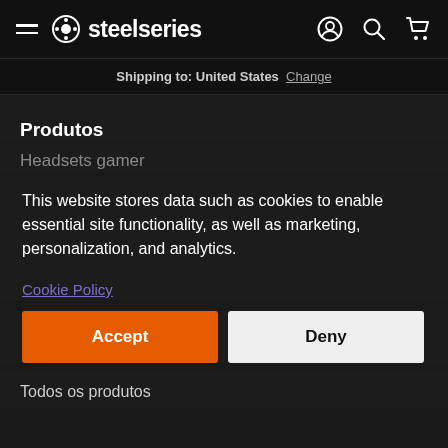SteelSeries — navigation bar with logo, hamburger menu, account, search, cart icons
Shipping to: United States Change
Produtos
Headsets gamer
This website stores data such as cookies to enable essential site functionality, as well as marketing, personalization, and analytics.
Cookie Policy
Accept
Deny
Todos os produtos